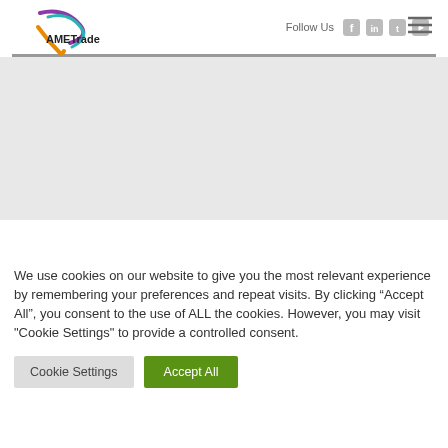Follow Us
[Figure (logo): AMETrade logo with colorful swoosh design in purple, teal, and orange]
We use cookies on our website to give you the most relevant experience by remembering your preferences and repeat visits. By clicking “Accept All”, you consent to the use of ALL the cookies. However, you may visit "Cookie Settings" to provide a controlled consent.
Cookie Settings
Accept All